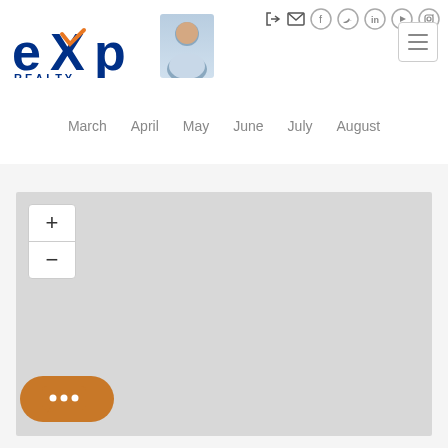[Figure (logo): eXp Realty logo with agent photo and hamburger menu, social media icons in top right]
[Figure (screenshot): Navigation bar with month labels: March, April, May, June, July, August]
[Figure (map): Gray placeholder map area with zoom controls (+/-) and chat button]